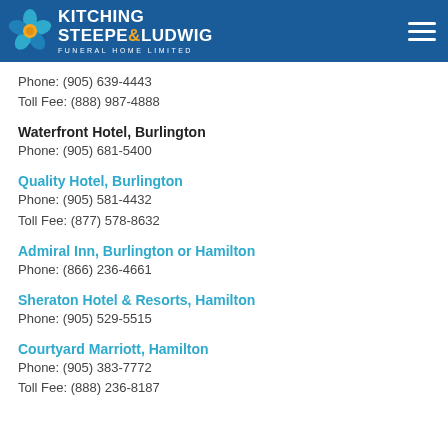KITCHING STEEPE & LUDWIG FUNERAL HOME LIMITED
Phone: (905) 639-4443
Toll Fee: (888) 987-4888
Waterfront Hotel, Burlington
Phone: (905) 681-5400
Quality Hotel, Burlington
Phone: (905) 581-4432
Toll Fee: (877) 578-8632
Admiral Inn, Burlington or Hamilton
Phone: (866) 236-4661
Sheraton Hotel & Resorts, Hamilton
Phone: (905) 529-5515
Courtyard Marriott, Hamilton
Phone: (905) 383-7772
Toll Fee: (888) 236-8187